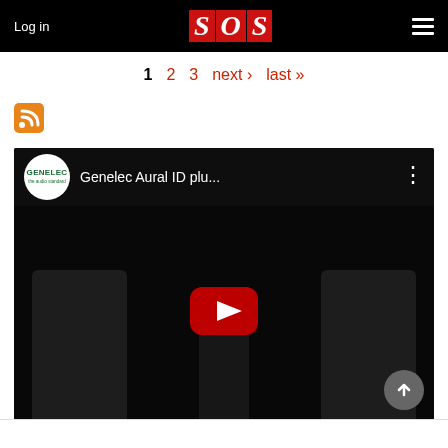Log in | SOS | Menu
1  2  3  next ›  last »
[Figure (screenshot): YouTube video embed showing Genelec Aural ID plugin video thumbnail with Genelec logo circle, title 'Genelec Aural ID plu...', three-dot menu, play button, and speaker images in dark background]